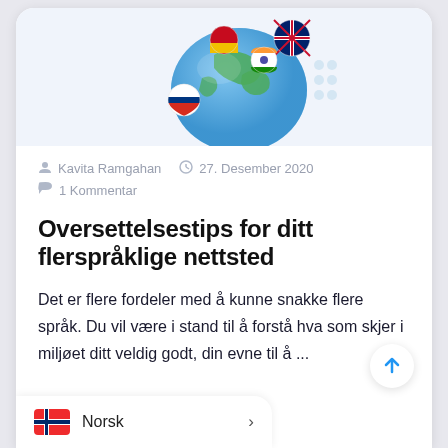[Figure (illustration): Globe with international flag balls (UK, Russia, Spain, India, others) floating around it, on a light blue background]
Kavita Ramgahan   27. Desember 2020
1 Kommentar
Oversettelsestips for ditt flerspråklige nettsted
Det er flere fordeler med å kunne snakke flere språk. Du vil være i stand til å forstå hva som skjer i miljøet ditt veldig godt, din evne til å ...
Norsk